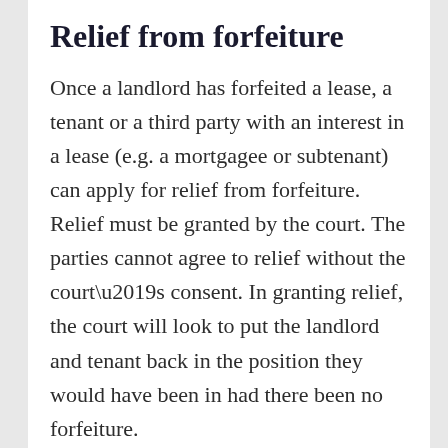Relief from forfeiture
Once a landlord has forfeited a lease, a tenant or a third party with an interest in a lease (e.g. a mortgagee or subtenant) can apply for relief from forfeiture. Relief must be granted by the court. The parties cannot agree to relief without the court’s consent. In granting relief, the court will look to put the landlord and tenant back in the position they would have been in had there been no forfeiture.
For land and the the...